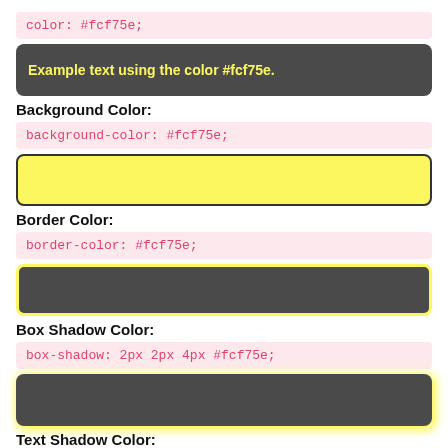color: #fcf75e;
[Figure (other): Dark gray rounded box with yellow text: Example text using the color #fcf75e.]
Background Color:
background-color: #fcf75e;
[Figure (other): Yellow background rounded box with dark border]
Border Color:
border-color: #fcf75e;
[Figure (other): Dark gray rounded box with yellow border]
Box Shadow Color:
box-shadow: 2px 2px 4px #fcf75e;
[Figure (other): Dark gray rounded box with yellow box shadow]
Text Shadow Color:
text-shadow: 2px 2px 2px #fcf75e;
[Figure (other): Dark gray rounded box with yellow text shadow: Example text shadow using the color #fcf75e.]